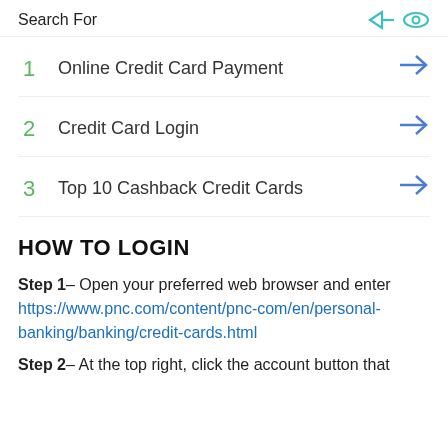Search For
1  Online Credit Card Payment
2  Credit Card Login
3  Top 10 Cashback Credit Cards
HOW TO LOGIN
Step 1– Open your preferred web browser and enter https://www.pnc.com/content/pnc-com/en/personal-banking/banking/credit-cards.html
Step 2– At the top right, click the account button that